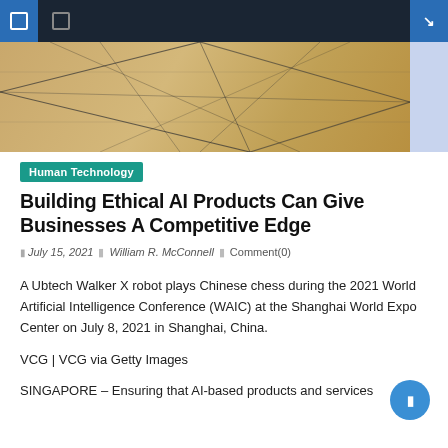Navigation bar with icons and search
[Figure (photo): Hero image with geometric/architectural gold-toned background and light blue accent on right side]
Human Technology
Building Ethical AI Products Can Give Businesses A Competitive Edge
July 15, 2021 | William R. McConnell | Comment(0)
A Ubtech Walker X robot plays Chinese chess during the 2021 World Artificial Intelligence Conference (WAIC) at the Shanghai World Expo Center on July 8, 2021 in Shanghai, China.
VCG | VCG via Getty Images
SINGAPORE – Ensuring that AI-based products and services are ethical has been touted as the world's next competitive advantage...